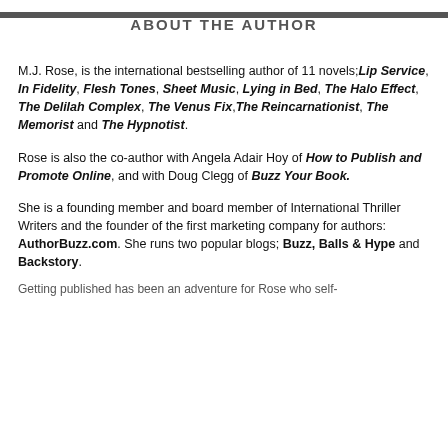ABOUT THE AUTHOR
M.J. Rose, is the international bestselling author of 11 novels;Lip Service, In Fidelity, Flesh Tones, Sheet Music, Lying in Bed, The Halo Effect, The Delilah Complex, The Venus Fix,The Reincarnationist, The Memorist and The Hypnotist.
Rose is also the co-author with Angela Adair Hoy of How to Publish and Promote Online, and with Doug Clegg of Buzz Your Book.
She is a founding member and board member of International Thriller Writers and the founder of the first marketing company for authors: AuthorBuzz.com. She runs two popular blogs; Buzz, Balls & Hype and Backstory.
Getting published has been an adventure for Rose who self-